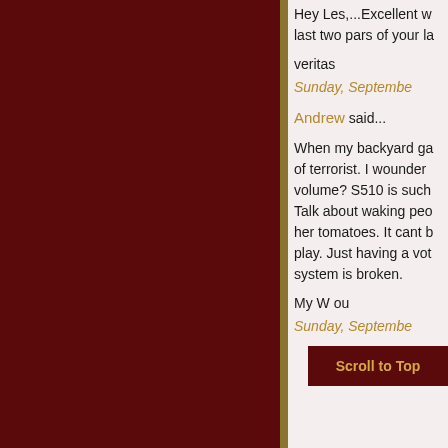Hey Les,...Excellent w... last two pars of your la...
veritas
Sunday, Septembe...
Andrew said...
When my backyard ga... of terrorist. I wounder ... volume? S510 is such... Talk about waking peo... her tomatoes. It cant b... play. Just having a vot... system is broken.
My W... ou...
Sunday, Septembe...